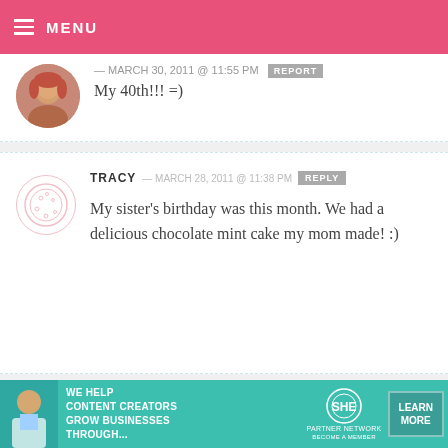MENU
My 40th!!! =)
TRACY — MARCH 28, 2011 @ 11:38 PM   REPLY
My sister's birthday was this month. We had a delicious chocolate mint cake my mom made! :)
HOLLY — MARCH 28, 2011 @ 11:38 PM   REPLY
[Figure (infographic): SHE Partner Network advertisement banner: 'We help content creators grow businesses through...' with Learn More button]